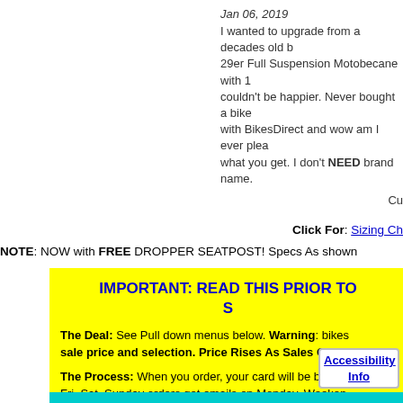Jan 06, 2019
I wanted to upgrade from a decades old bike... 29er Full Suspension Motobecane with 1... couldn't be happier. Never bought a bike with BikesDirect and wow am I ever plea... what you get. I don't NEED brand name. want to ride and have some room for exp... to last a long time. The bike is beautiful, well. It shreds terrain very easily. I saved had lower quality components. Specificall fence, take the chance, I got a fantastic b
Cu
Click For: Sizing Ch
NOTE: NOW with FREE DROPPER SEATPOST! Specs As shown
IMPORTANT: READ THIS PRIOR TO S
The Deal: See Pull down menus below. Warning: bikes sale price and selection. Price Rises As Sales Goals
The Process: When you order, your card will be billed Fri. Sat. Sunday orders get emails on Monday. Weeken Your Shipping Address: Please ensure it's correct. La address can be changed on the 3rd page of checkout. movement in 2 to 3 business e 5 to 7
Accessibility Info